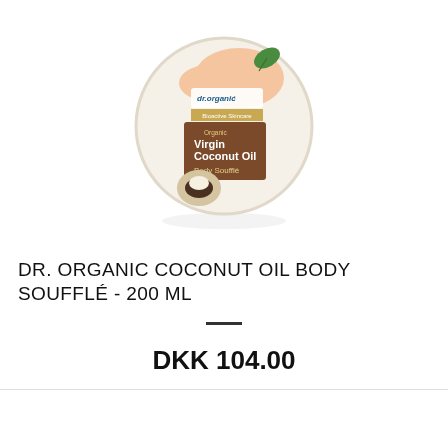[Figure (photo): Circular tin of Dr. Organic Bioactive Skincare Organic Virgin Coconut Oil Body Soufflé product, with a hand applying cream visible at the top, set against a white background with a subtle reflection below.]
DR. ORGANIC COCONUT OIL BODY SOUFFLÉ - 200 ML
DKK 104.00